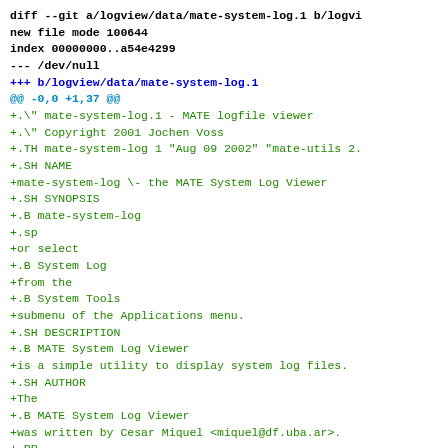diff --git a/logview/data/mate-system-log.1 b/logvi
new file mode 100644
index 00000000..a54e4299
--- /dev/null
+++ b/logview/data/mate-system-log.1
@@ -0,0 +1,37 @@
+.\" mate-system-log.1 - MATE logfile viewer
+.\" Copyright 2001 Jochen Voss
+.TH mate-system-log 1 "Aug 09 2002" "mate-utils 2.
+.SH NAME
+mate-system-log \- the MATE System Log Viewer
+.SH SYNOPSIS
+.B mate-system-log
+.sp
+or select
+.B System Log
+from the
+.B System Tools
+submenu of the Applications menu.
+.SH DESCRIPTION
+.B MATE System Log Viewer
+is a simple utility to display system log files.
+.SH AUTHOR
+The
+.B MATE System Log Viewer
+was written by Cesar Miquel <miquel@df.uba.ar>.
+.PP
+This manual page was written by Jochen Voss
+<voss@mathematik.uni-kl.de>.
+.SH FILES